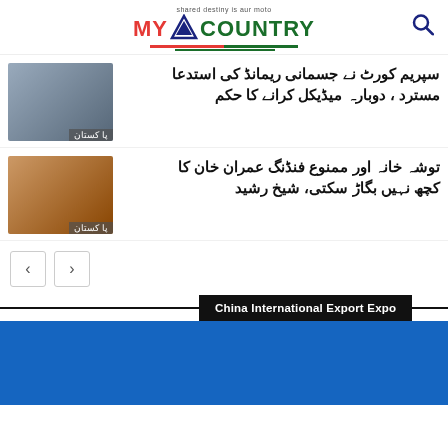MY COUNTRY - shared destiny is aur moto
[Figure (photo): Photo of a man with glasses surrounded by people, labeled Pakistan in Urdu]
سپریم کورٹ نے جسمانی ریمانڈ کی استدعا مسترد ، دوبارہ میڈیکل کرانے کا حکم
[Figure (photo): Photo of Sheikh Rashid speaking, labeled Pakistan in Urdu]
توشہ خانہ اور ممنوع فنڈنگ عمران خان کا کچھ نہیں بگاڑ سکتی، شیخ رشید
China International Export Expo
[Figure (photo): Blue background image related to China International Export Expo]